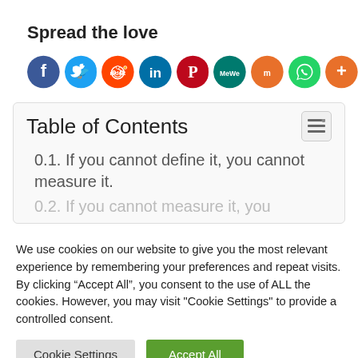Spread the love
[Figure (illustration): Row of social media share icons: Facebook (blue), Twitter (light blue), Reddit (orange-red), LinkedIn (dark blue), Pinterest (red), MeWe (teal), Mix (orange), WhatsApp (green), More/Plus (orange)]
Table of Contents
0.1. If you cannot define it, you cannot measure it.
0.2. If you cannot measure it, you...
We use cookies on our website to give you the most relevant experience by remembering your preferences and repeat visits. By clicking “Accept All”, you consent to the use of ALL the cookies. However, you may visit "Cookie Settings" to provide a controlled consent.
Cookie Settings | Accept All